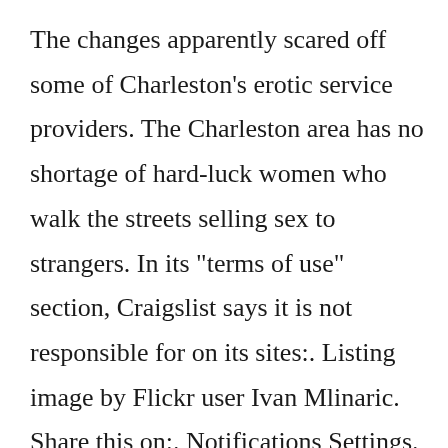The changes apparently scared off some of Charleston's erotic service providers. The Charleston area has no shortage of hard-luck women who walk the streets selling sex to strangers. In its "terms of use" section, Craigslist says it is not responsible for on its sites:. Listing image by Flickr user Ivan Mlinaric. Share this on:. Notifications Settings. Attorney General Richard Blumenthal of Connecticut, who has been a leading critic of Web sites that can be used to